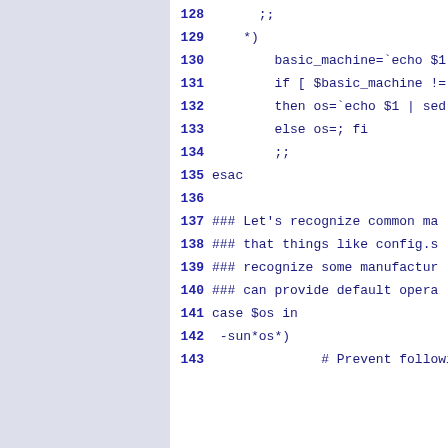Source code listing lines 128-143, shell script with case statement
128     ;;
129     *)
130         basic_machine=`echo $1 |
131         if [ $basic_machine != $1
132         then os=`echo $1 | sed 's
133         else os=; fi
134         ;;
135 esac
136
137 ### Let's recognize common ma
138 ### that things like config.s
139 ### recognize some manufactur
140 ### can provide default opera
141 case $os in
142 -sun*os*)
143             # Prevent following